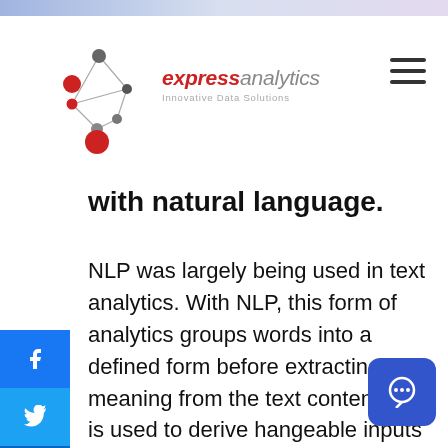[Figure (logo): Express Analytics logo with network node graphic and text 'expressanalytics Innovative Data Solutions']
with natural language.
NLP was largely being used in text analytics. With NLP, this form of analytics groups words into a defined form before extracting meaning from the text content. NLP is used to derive hangeable inputs from the raw text for either
This website stores cookies on your computer. We use this information in order to improve and customize your browsing experience. To find out more about the cookies we use, see our Privacy Policy.

If you decline, your information won't be tracked when you visit this website.